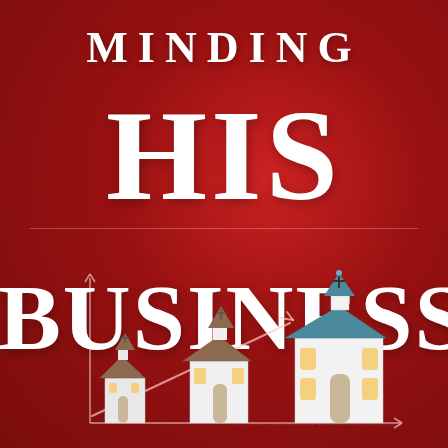[Figure (illustration): Book cover with red gradient background. Title reads 'MINDING HIS BUSINESS' in large white serif font. Lower portion shows a chalk-style graph with an upward arrow and three progressively larger church buildings arranged like a bar chart, representing growth.]